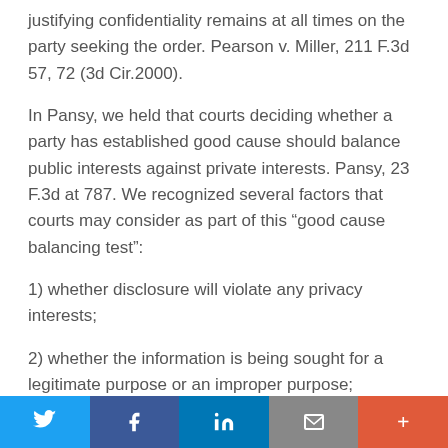justifying confidentiality remains at all times on the party seeking the order. Pearson v. Miller, 211 F.3d 57, 72 (3d Cir.2000).
In Pansy, we held that courts deciding whether a party has established good cause should balance public interests against private interests. Pansy, 23 F.3d at 787. We recognized several factors that courts may consider as part of this “good cause balancing test”:
1) whether disclosure will violate any privacy interests;
2) whether the information is being sought for a legitimate purpose or an improper purpose;
3) whether disclosure of the information will cause a party embarrassment;
Social share bar: Twitter, Facebook, LinkedIn, Email, More